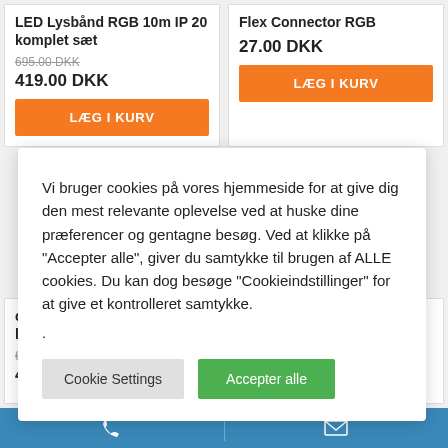LED Lysbånd RGB 10m IP 20 komplet sæt
695.00 DKK (strikethrough) / 419.00 DKK
LÆG I KURV
Flex Connector RGB
27.00 DKK
LÆG I KURV
Vi bruger cookies på vores hjemmeside for at give dig den mest relevante oplevelse ved at huske dine præferencer og gentagne besøg. Ved at klikke på "Accepter alle", giver du samtykke til brugen af ALLE cookies. Du kan dog besøge "Cookieindstillinger" for at give et kontrolleret samtykke.
.
Cookie Settings
Accepter alle
optimeret LED med større lyseffekt
629.00 DKK (strikethrough) / 429.00 DKK
219.00 DKK
phone icon / mail icon